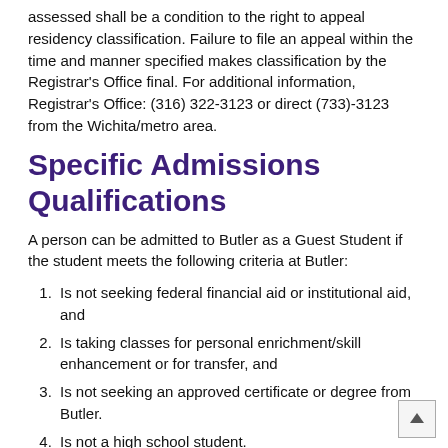assessed shall be a condition to the right to appeal residency classification. Failure to file an appeal within the time and manner specified makes classification by the Registrar's Office final. For additional information, Registrar's Office: (316) 322-3123 or direct (733)-3123 from the Wichita/metro area.
Specific Admissions Qualifications
A person can be admitted to Butler as a Guest Student if the student meets the following criteria at Butler:
Is not seeking federal financial aid or institutional aid, and
Is taking classes for personal enrichment/skill enhancement or for transfer, and
Is not seeking an approved certificate or degree from Butler.
Is not a high school student.
Is not an international student.